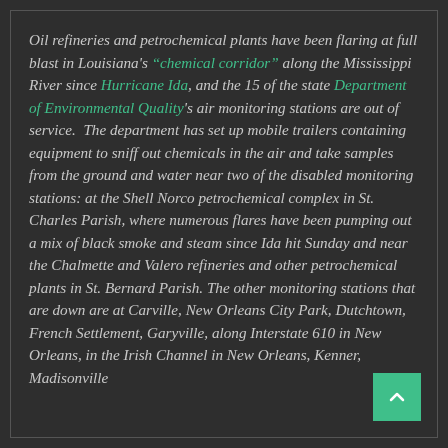Oil refineries and petrochemical plants have been flaring at full blast in Louisiana's "chemical corridor" along the Mississippi River since Hurricane Ida, and the 15 of the state Department of Environmental Quality's air monitoring stations are out of service. The department has set up mobile trailers containing equipment to sniff out chemicals in the air and take samples from the ground and water near two of the disabled monitoring stations: at the Shell Norco petrochemical complex in St. Charles Parish, where numerous flares have been pumping out a mix of black smoke and steam since Ida hit Sunday and near the Chalmette and Valero refineries and other petrochemical plants in St. Bernard Parish. The other monitoring stations that are down are at Carville, New Orleans City Park, Dutchtown, French Settlement, Garyville, along Interstate 610 in New Orleans, in the Irish Channel in New Orleans, Kenner, Madisonville